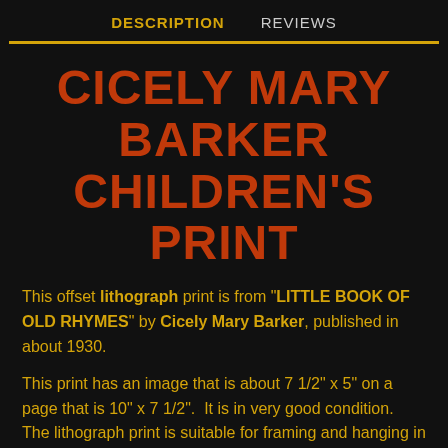DESCRIPTION   REVIEWS
CICELY MARY BARKER CHILDREN'S PRINT
This offset lithograph print is from "LITTLE BOOK OF OLD RHYMES" by Cicely Mary Barker, published in about 1930.
This print has an image that is about 7 1/2" x 5" on a page that is 10" x 7 1/2".  It is in very good condition.  The lithograph print is suitable for framing and hanging in a child's room and would be an excellent gift for a grandmother.
The...